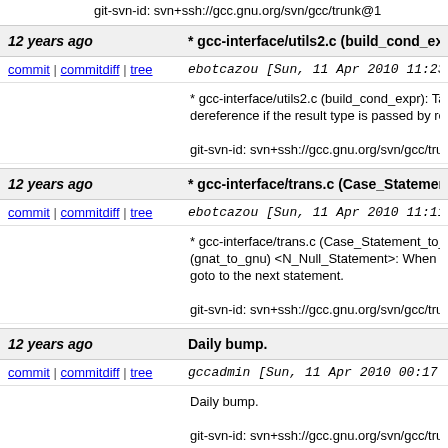git-svn-id: svn+ssh://gcc.gnu.org/svn/gcc/trunk@1
12 years ago | * gcc-interface/utils2.c (build_cond_expr): Take
commit | commitdiff | tree | ebotcazou [Sun, 11 Apr 2010 11:23:32 +00
* gcc-interface/utils2.c (build_cond_expr): Take the dereference if the result type is passed by reference
git-svn-id: svn+ssh://gcc.gnu.org/svn/gcc/trunk@1
12 years ago | * gcc-interface/trans.c (Case_Statement_to_gn
commit | commitdiff | tree | ebotcazou [Sun, 11 Apr 2010 11:11:49 +00
* gcc-interface/trans.c (Case_Statement_to_gnu): (gnat_to_gnu) <N_Null_Statement>: When not op goto to the next statement.
git-svn-id: svn+ssh://gcc.gnu.org/svn/gcc/trunk@1
12 years ago | Daily bump.
commit | commitdiff | tree | gccadmin [Sun, 11 Apr 2010 00:17:00 +000
Daily bump.
git-svn-id: svn+ssh://gcc.gnu.org/svn/gcc/trunk@